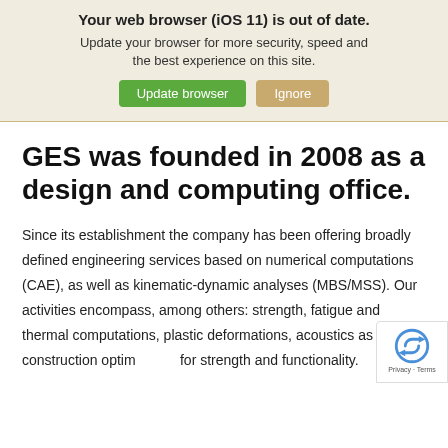Your web browser (iOS 11) is out of date. Update your browser for more security, speed and the best experience on this site.
Update browser | Ignore
GES was founded in 2008 as a design and computing office.
Since its establishment the company has been offering broadly defined engineering services based on numerical computations (CAE), as well as kinematic-dynamic analyses (MBS/MSS). Our activities encompass, among others: strength, fatigue and thermal computations, plastic deformations, acoustics as well as construction optimization for strength and functionality.